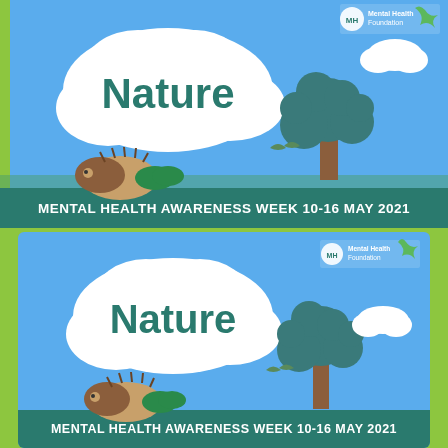[Figure (illustration): Top banner: Mental Health Awareness Week 2021 'Nature' theme poster. Sky blue background with white cloud containing 'Nature' text in teal, a stylized tree with teal foliage, a small bird, a hedgehog, white cloud, and Mental Health Foundation logo with green ribbon. Bottom banner reads 'MENTAL HEALTH AWARENESS WEEK 10-16 MAY 2021'.]
[Figure (illustration): Bottom version of same poster, slightly smaller, white border visible. Same 'Nature' theme with sky blue background, cloud, tree, bird, hedgehog, Mental Health Foundation logo and green ribbon. Bottom banner reads 'MENTAL HEALTH AWARENESS WEEK 10-16 MAY 2021'.]